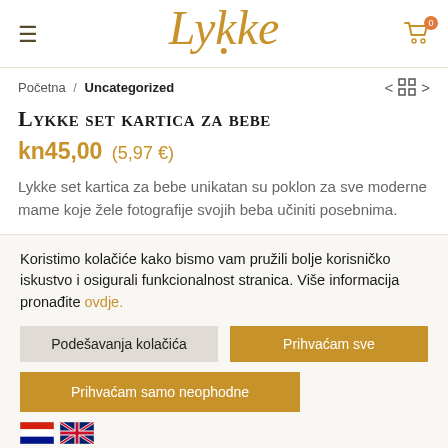Lykke
Početna / Uncategorized
Lykke set kartica za bebe
kn45,00 (5,97 €)
Lykke set kartica za bebe unikatan su poklon za sve moderne mame koje žele fotografije svojih beba učiniti posebnima.
Koristimo kolačiće kako bismo vam pružili bolje korisničko iskustvo i osigurali funkcionalnost stranica. Više informacija pronađite ovdje.
Podešavanja kolačića
Prihvaćam sve
Prihvaćam samo neophodne